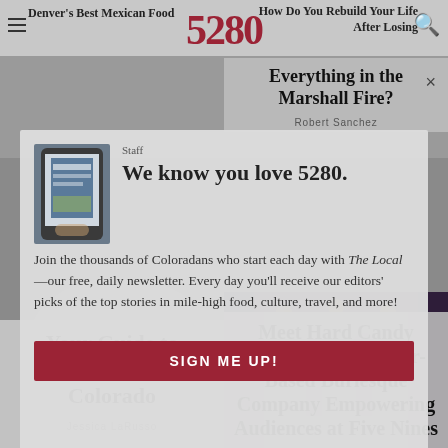Denver's Best Mexican Food | 5280 | How Do You Rebuild Your Life After Losing
Everything in the Marshall Fire?
Robert Sanchez
[Figure (screenshot): Newsletter signup modal for 5280 magazine's The Local daily newsletter. Shows phone with app, staff label, title 'We know you love 5280.' and body text about joining Coloradans who start each day with The Local newsletter. Includes a red SIGN ME UP! button.]
Staff
We know you love 5280.
Join the thousands of Coloradans who start each day with The Local—our free, daily newsletter. Every day you'll receive our editors' picks of the top stories in mile-high food, culture, travel, and more!
SIGN ME UP!
Your Guide to Stargazing in Colorado
Jessica LaRusso
Meet Hard Candy Dancers, the Denver-Based Burlesque Company Empowering Audiences at Five Nines